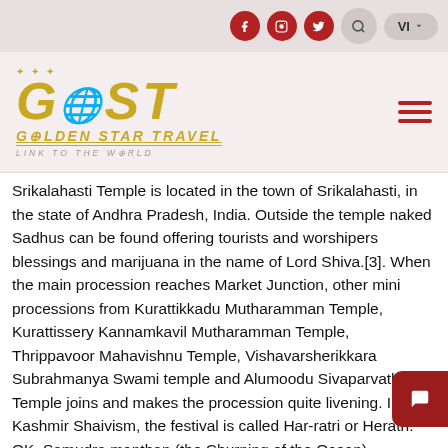Navigation bar with social icons, search, and language selector (VI)
[Figure (logo): Golden Star Travel logo with GST text in gold, star above, tagline 'LINK TO THE WORLD', and hamburger menu icon]
Srikalahasti Temple is located in the town of Srikalahasti, in the state of Andhra Pradesh, India. Outside the temple naked Sadhus can be found offering tourists and worshipers blessings and marijuana in the name of Lord Shiva.[3]. When the main procession reaches Market Junction, other mini processions from Kurattikkadu Mutharamman Temple, Kurattissery Kannamkavil Mutharamman Temple, Thrippavoor Mahavishnu Temple, Vishavarsherikkara Subrahmanya Swami temple and Alumoodu Sivaparvathy Temple joins and make the procession quite livening. In Kashmir Shaivism, the festival is called Har-ratri or Herath. OK, Samudra manthan (the Churning of the Ocean), http://nepaltravelblogs.com/profiles/blogs/maha-shivarati-a-festival-for, Shivaratri by Swami Sivananda (Divine Life Society). Also Read: Do you know why Magh Bihu is